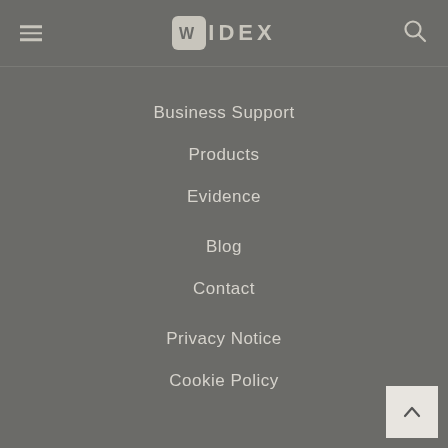Widex navigation menu header with hamburger icon, Widex logo, and search icon
Business Support
Products
Evidence
Blog
Contact
Privacy Notice
Cookie Policy